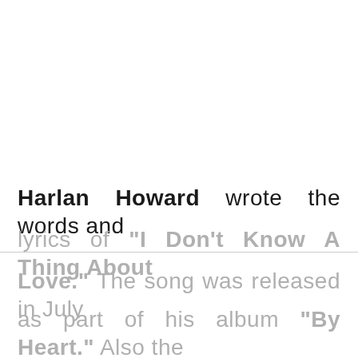Harlan Howard wrote the words and lyrics of "I Don't Know A Thing About Love." The song was released in July as part of his album "By Heart." Also the